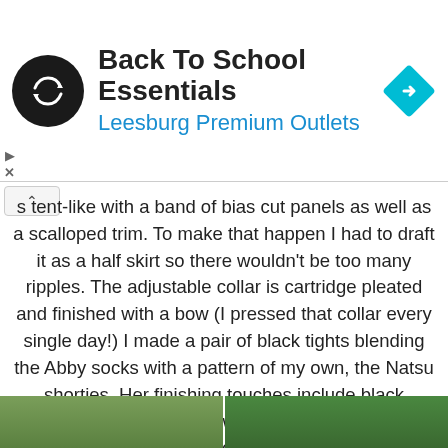[Figure (logo): Ad banner with circular dark logo with white arrows icon, text 'Back To School Essentials' and 'Leesburg Premium Outlets' in blue, and a cyan/teal diamond navigation icon on the right]
s tent-like with a band of bias cut panels as well as a scalloped trim. To make that happen I had to draft it as a half skirt so there wouldn't be too many ripples. The adjustable collar is cartridge pleated and finished with a bow (I pressed that collar every single day!) I made a pair of black tights blending the Abby socks with a pattern of my own, the Natsu shorties. Her finishing touches include black pleather, open-finger, bow gloves (for gripping her hoop!) and a fascinator made with paneled rainbows as well. For the Little Clown, I redrafted the Doli tank, blended it with the armholes of the Racerback Dress, and included a middle panel with scallops and buttons as well as a little rainbow flounce. The bloomers are HST quilted to look like a harlequin pattern and her finishing touches include a mini clown hat and Abby socks with rainbow ruffles.
[Figure (photo): Two photos side by side at the bottom showing costumed figures outdoors on grass]